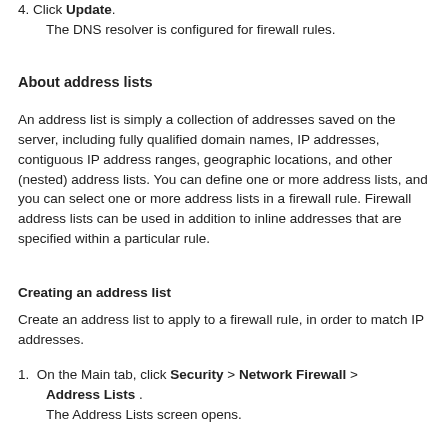4. Click Update.
   The DNS resolver is configured for firewall rules.
About address lists
An address list is simply a collection of addresses saved on the server, including fully qualified domain names, IP addresses, contiguous IP address ranges, geographic locations, and other (nested) address lists. You can define one or more address lists, and you can select one or more address lists in a firewall rule. Firewall address lists can be used in addition to inline addresses that are specified within a particular rule.
Creating an address list
Create an address list to apply to a firewall rule, in order to match IP addresses.
1. On the Main tab, click Security > Network Firewall > Address Lists .
   The Address Lists screen opens.